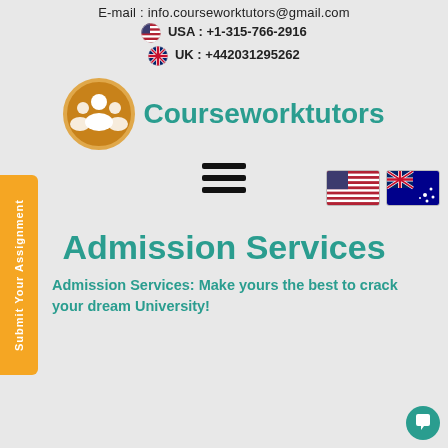E-mail : info.courseworktutors@gmail.com
🇺🇸 USA : +1-315-766-2916
🇬🇧 UK : +442031295262
[Figure (logo): Courseworktutors logo with brown circle containing people icon and teal text]
[Figure (illustration): Hamburger menu icon with three horizontal lines]
Admission Services
Admission Services: Make yours the best to crack your dream University!